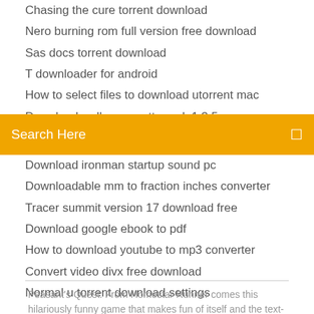Chasing the cure torrent download
Nero burning rom full version free download
Sas docs torrent download
T downloader for android
How to select files to download utorrent mac
Download wallpaper setter apk 1.3.5
[Figure (screenshot): Orange search bar with text 'Search Here' and a search icon on the right]
Download ironman startup sound pc
Downloadable mm to fraction inches converter
Tracer summit version 17 download free
Download google ebook to pdf
How to download youtube to mp3 converter
Convert video divx free download
Normal u torrent download settings
Peasant's Quest: From Homestar Runner comes this hilariously funny game that makes fun of itself and the text-based adventure